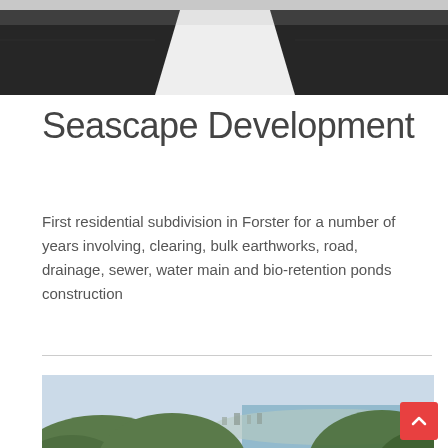[Figure (photo): Aerial/close-up view of a dark asphalt road with a white lane marking stripe, taken from above or at an angle]
Seascape Development
First residential subdivision in Forster for a number of years involving, clearing, bulk earthworks, road, drainage, sewer, water main and bio-retention ponds construction
[Figure (photo): Aerial drone photograph of the Seascape Development site in Forster showing cleared earthworks in the foreground with red/orange soil, surrounded by green bushland, and a coastal town with ocean visible in the background]